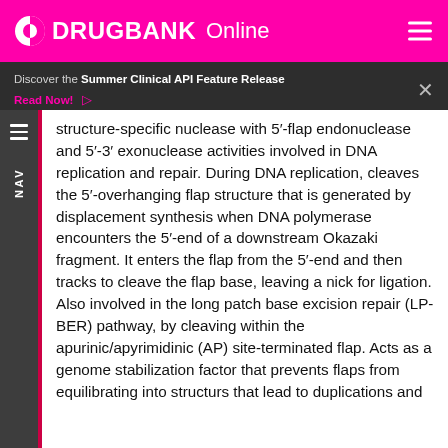DRUGBANK Online
Discover the Summer Clinical API Feature Release
Read Now!
structure-specific nuclease with 5'-flap endonuclease and 5'-3' exonuclease activities involved in DNA replication and repair. During DNA replication, cleaves the 5'-overhanging flap structure that is generated by displacement synthesis when DNA polymerase encounters the 5'-end of a downstream Okazaki fragment. It enters the flap from the 5'-end and then tracks to cleave the flap base, leaving a nick for ligation. Also involved in the long patch base excision repair (LP-BER) pathway, by cleaving within the apurinic/apyrimidinic (AP) site-terminated flap. Acts as a genome stabilization factor that prevents flaps from equilibrating into structurs that lead to duplications and